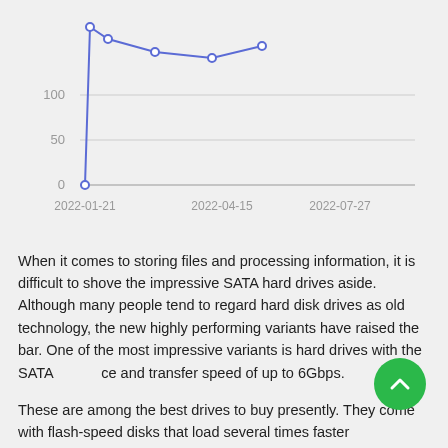[Figure (line-chart): Line chart showing values over time from 2022-01-21 to 2022-07-27, with y-axis labels 0, 50, 100, and x-axis labels at three dates. The line spikes from 0 up to ~130 around early 2022 then gradually declines and slightly rises.]
When it comes to storing files and processing information, it is difficult to shove the impressive SATA hard drives aside. Although many people tend to regard hard disk drives as old technology, the new highly performing variants have raised the bar. One of the most impressive variants is hard drives with the SATA interface and transfer speed of up to 6Gbps.
These are among the best drives to buy presently. They come with flash-speed disks that load several times faster than traditional hard drives. Another added advantage is...